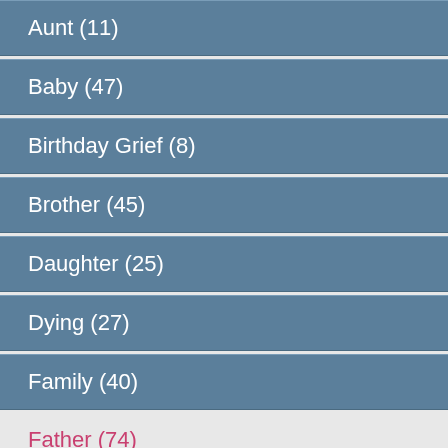Aunt (11)
Baby (47)
Birthday Grief (8)
Brother (45)
Daughter (25)
Dying (27)
Family (40)
Father (74)
Friend (52)
Funeral Family (44)
Funeral Friend (10)
Grandfather (43)